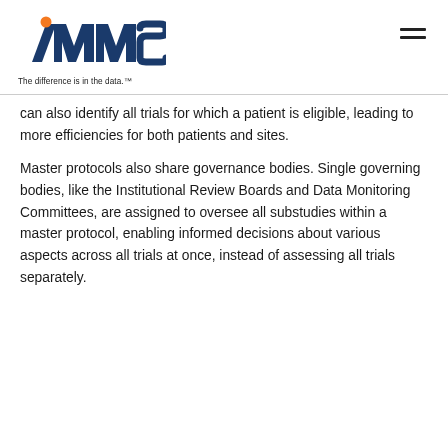AAAS - The difference is in the data.
can also identify all trials for which a patient is eligible, leading to more efficiencies for both patients and sites.
Master protocols also share governance bodies. Single governing bodies, like the Institutional Review Boards and Data Monitoring Committees, are assigned to oversee all substudies within a master protocol, enabling informed decisions about various aspects across all trials at once, instead of assessing all trials separately.